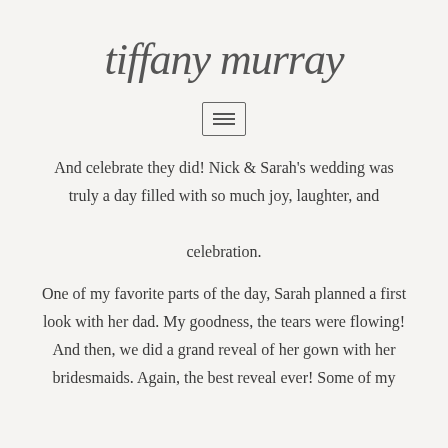tiffany murray
[Figure (other): Hamburger menu icon (three horizontal lines inside a rectangle border)]
And celebrate they did! Nick & Sarah's wedding was truly a day filled with so much joy, laughter, and celebration.
One of my favorite parts of the day, Sarah planned a first look with her dad. My goodness, the tears were flowing! And then, we did a grand reveal of her gown with her bridesmaids. Again, the best reveal ever! Some of my